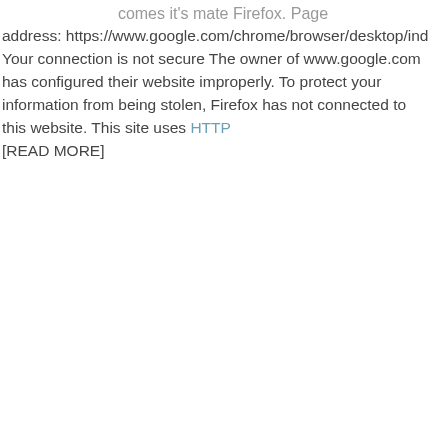comes it's mate Firefox. Page address: https://www.google.com/chrome/browser/desktop/ind Your connection is not secure The owner of www.google.com has configured their website improperly. To protect your information from being stolen, Firefox has not connected to this website. This site uses HTTP [READ MORE]
[Figure (infographic): WP Engine advertisement banner with dark navy background, teal accent bar, bold white text 'High performance WordPress hosting that just works.', teal subtitle 'Sign up for a WP Engine plan and get 35+ StudioPress Themes free, worth over $2,000 in value.', orange 'LEARN MORE' button, and hexagon pattern background.]